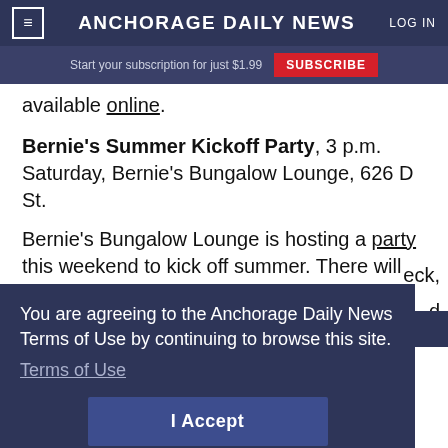≡ ANCHORAGE DAILY NEWS  LOG IN
Start your subscription for just $1.99  SUBSCRIBE
available online.
Bernie's Summer Kickoff Party, 3 p.m. Saturday, Bernie's Bungalow Lounge, 626 D St.
Bernie's Bungalow Lounge is hosting a party this weekend to kick off summer. There will be live
You are agreeing to the Anchorage Daily News Terms of Use by continuing to browse this site. Terms of Use
I Accept